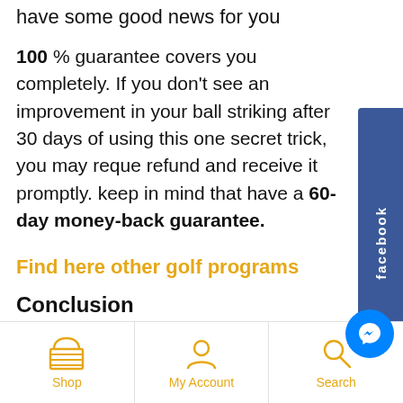have some good news for you
100 % guarantee covers you completely. If you don't see an improvement in your ball striking after 30 days of using this one secret trick, you may reque refund and receive it promptly. keep in mind that have a 60-day money-back guarantee.
Find here other golf programs
Conclusion
The Stress-Free Golf Swing product is worthwhile to
Shop | My Account | Search